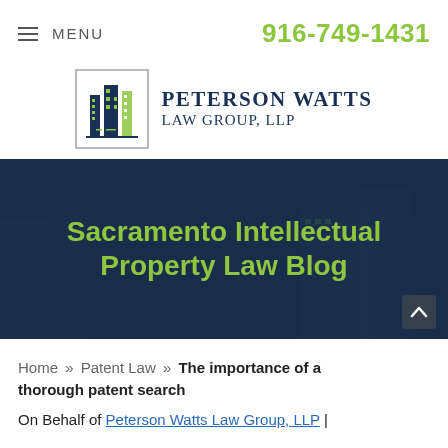MENU | 916-749-1431
[Figure (logo): Peterson Watts Law Group, LLP logo — building icon in a bordered box next to the firm name in dark navy serif text]
[Figure (photo): Hero banner with dark navy overlay showing a city/building background with green text: 'Sacramento Intellectual Property Law Blog']
Sacramento Intellectual Property Law Blog
Home » Patent Law » The importance of a thorough patent search
On Behalf of Peterson Watts Law Group, LLP |